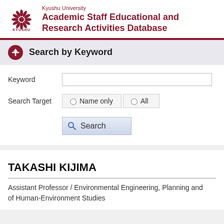[Figure (logo): Kyushu University logo with stylized flower emblem and text KYUSHU UNIVERSITY]
Kyushu University Academic Staff Educational and Research Activities Database
Search by Keyword
Keyword
Search Target  Name only  All
Search
TAKASHI KIJIMA
Assistant Professor / Environmental Engineering, Planning and of Human-Environment Studies